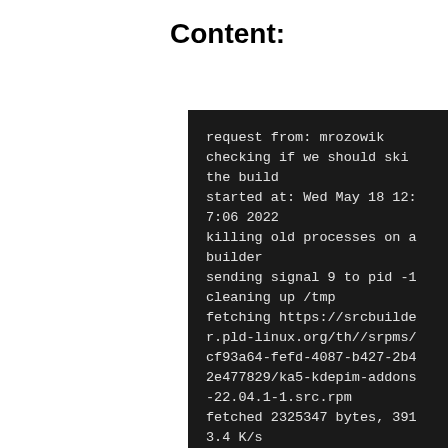Content:
[Figure (screenshot): Terminal/console output on black background showing build log text including: request from: mrozowik, checking if we should skip the build, started at: Wed May 18 12:7:06 2022, killing old processes on a builder, sending signal 9 to pid -1, cleaning up /tmp, fetching https://srcbuilder.pld-linux.org/th//srpms/cf93a64-fefd-4087-b427-2b42e477829/ka5-kdepim-addons-22.04.1-1.src.rpm, fetched 2325347 bytes, 391 3.4 K/s, installing srpm: ka5-kdepim-addons-22.04.1-1.src.rpm, + install -d /tmp/B.10tu4...]